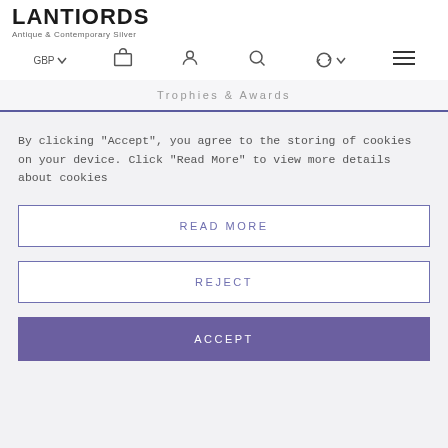Antique & Contemporary Silver
Trophies & Awards
By clicking "Accept", you agree to the storing of cookies on your device. Click "Read More" to view more details about cookies
READ MORE
REJECT
ACCEPT